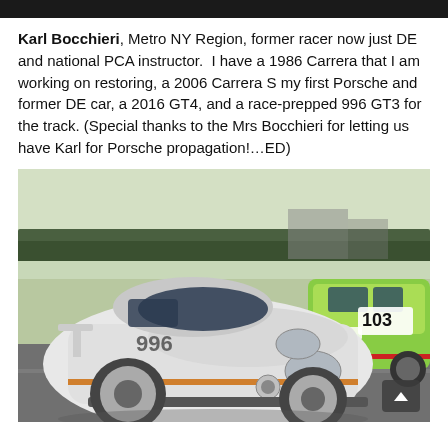Karl Bocchieri, Metro NY Region, former racer now just DE and national PCA instructor.  I have a 1986 Carrera that I am working on restoring, a 2006 Carrera S my first Porsche and former DE car, a 2016 GT4, and a race-prepped 996 GT3 for the track. (Special thanks to the Mrs Bocchieri for letting us have Karl for Porsche propagation!…ED)
[Figure (photo): A white Porsche 996 GT3 race car with race number on the door, parked on a race track paddock area. A green and yellow race car with number 103 and 'Romano' branding is visible to the right. Tree line visible in the background.]